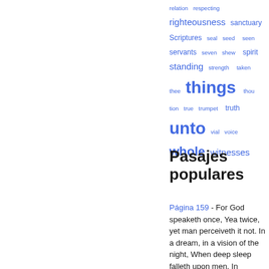relation  respecting  righteousness  sanctuary  Scriptures  seal  seed  seen  servants  seven  shew  spirit  standing  strength  taken  thee  things  thou  tion  true  trumpet  truth  unto  vial  voice  whole  witnesses
Pasajes populares
Página 159 - For God speaketh once, Yea twice, yet man perceiveth it not. In a dream, in a vision of the night, When deep sleep falleth upon men, In